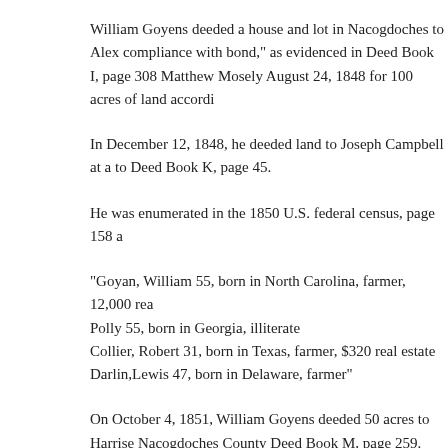William Goyens deeded a house and lot in Nacogdoches to Alex compliance with bond," as evidenced in Deed Book I, page 308 Matthew Mosely August 24, 1848 for 100 acres of land accordi
In December 12, 1848, he deeded land to Joseph Campbell at a to Deed Book K, page 45.
He was enumerated in the 1850 U.S. federal census, page 158 a
"Goyan, William 55, born in North Carolina, farmer, 12,000 rea Polly 55, born in Georgia, illiterate Collier, Robert 31, born in Texas, farmer, $320 real estate Darlin,Lewis 47, born in Delaware, farmer"
On October 4, 1851, William Goyens deeded 50 acres to Harrise Nacogdoches County Deed Book M, page 259. His charitable n gift of "two cows and calves" to Arena Paasche and children," v according to Nacogdoches County Deed Book K, page 690.